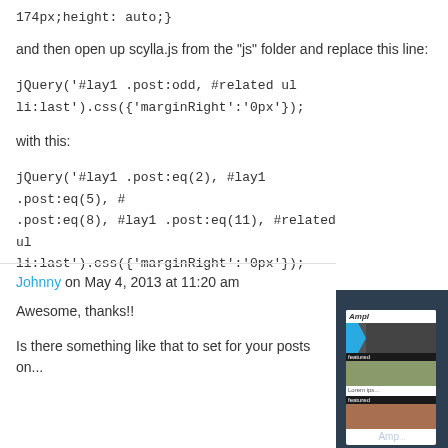174px;height: auto;}
and then open up scylla.js from the "js" folder and replace this line:
jQuery('#lay1 .post:odd, #related ul li:last').css({'marginRight':'0px'});
with this:
jQuery('#lay1 .post:eq(2), #lay1 .post:eq(5), #lay1 .post:eq(8), #lay1 .post:eq(11), #related ul li:last').css({'marginRight':'0px'});
[Figure (screenshot): Screenshot of a website template called 'Ampl' showing a dark sidebar with a white screen mockup containing a movie/media themed layout with blue chevron graphic and thumbnails.]
Johnny on May 4, 2013 at 11:20 am
Awesome, thanks!!
Is there something like that to set for your posts on...